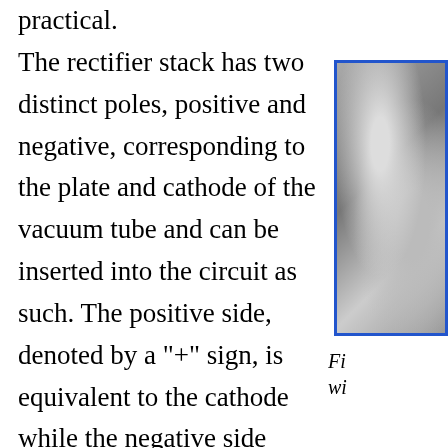practical. The rectifier stack has two distinct poles, positive and negative, corresponding to the plate and cathode of the vacuum tube and can be inserted into the circuit as such. The positive side, denoted by a "+" sign, is equivalent to the cathode while the negative side
[Figure (photo): Photograph of a rectifier stack component, shown partially cropped on the right side of the page, with a blue border frame. Caption text beginning with 'Fi' and 'wi' visible at the bottom right.]
Fi... wi...